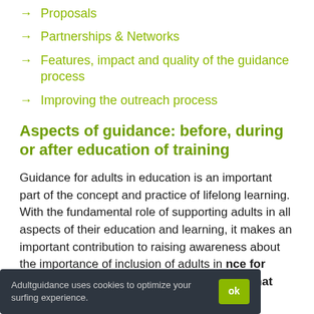Proposals
Partnerships & Networks
Features, impact and quality of the guidance process
Improving the outreach process
Aspects of guidance: before, during or after education of training
Guidance for adults in education is an important part of the concept and practice of lifelong learning. With the fundamental role of supporting adults in all aspects of their education and learning, it makes an important contribution to raising awareness about the importance of inclusion of adults in education is a complex activity that includes several
Adultguidance uses cookies to optimize your surfing experience.